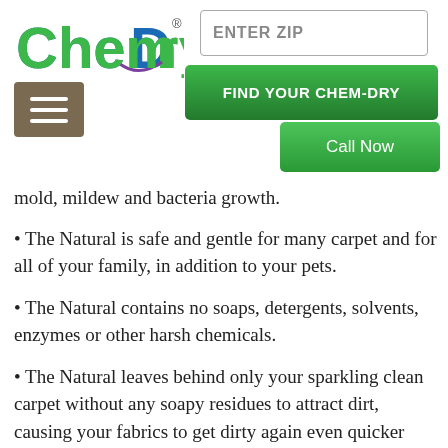ChemDry - ENTER ZIP - FIND YOUR CHEM-DRY - Call Now
mold, mildew and bacteria growth.
The Natural is safe and gentle for many carpet and for all of your family, in addition to your pets.
The Natural contains no soaps, detergents, solvents, enzymes or other harsh chemicals.
The Natural leaves behind only your sparkling clean carpet without any soapy residues to attract dirt, causing your fabrics to get dirty again even quicker than ever.